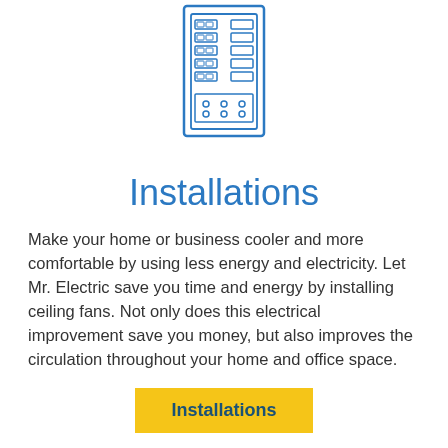[Figure (illustration): Blue line illustration of an electrical breaker panel box with circuit breakers]
Installations
Make your home or business cooler and more comfortable by using less energy and electricity. Let Mr. Electric save you time and energy by installing ceiling fans. Not only does this electrical improvement save you money, but also improves the circulation throughout your home and office space.
Installations
[Figure (illustration): Blue line illustration of hands working with electrical connectors or plugs]